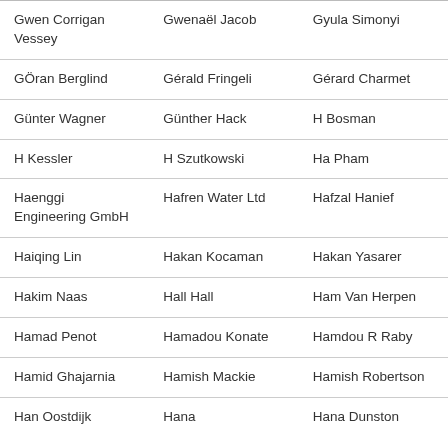| Gwen Corrigan Vessey | Gwenaël Jacob | Gyula Simonyi |
| GÖran Berglind | Gérald Fringeli | Gérard Charmet |
| Günter Wagner | Günther Hack | H Bosman |
| H Kessler | H Szutkowski | Ha Pham |
| Haenggi Engineering GmbH | Hafren Water Ltd | Hafzal Hanief |
| Haiqing Lin | Hakan Kocaman | Hakan Yasarer |
| Hakim Naas | Hall Hall | Ham Van Herpen |
| Hamad Penot | Hamadou Konate | Hamdou R Raby |
| Hamid Ghajarnia | Hamish Mackie | Hamish Robertson |
| Han Oostdijk | Hana | Hana Dunston |